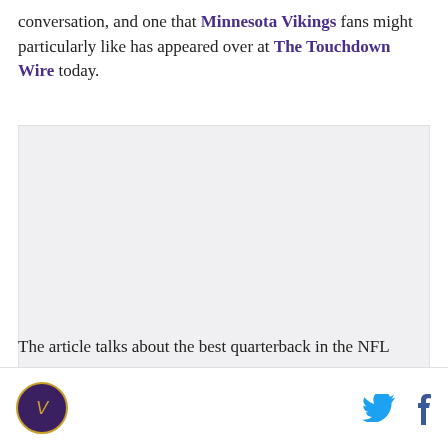conversation, and one that Minnesota Vikings fans might particularly like has appeared over at The Touchdown Wire today.
[Figure (other): Large image placeholder with light gray background, likely an embedded article image or advertisement]
The article talks about the best quarterback in the NFL
Vikings Territory logo, Twitter icon, Facebook icon